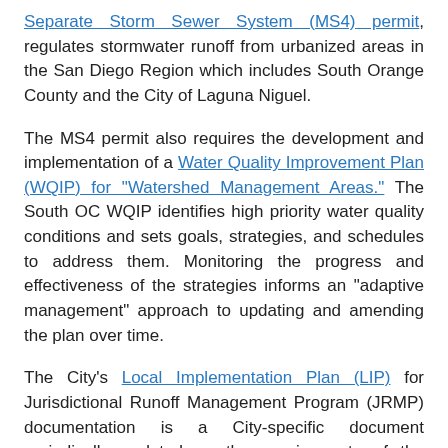Separate Storm Sewer System (MS4) permit, regulates stormwater runoff from urbanized areas in the San Diego Region which includes South Orange County and the City of Laguna Niguel.
The MS4 permit also requires the development and implementation of a Water Quality Improvement Plan (WQIP) for "Watershed Management Areas." The South OC WQIP identifies high priority water quality conditions and sets goals, strategies, and schedules to address them. Monitoring the progress and effectiveness of the strategies informs an "adaptive management" approach to updating and amending the plan over time.
The City's Local Implementation Plan (LIP) for Jurisdictional Runoff Management Program (JRMP) documentation is a City-specific document periodically updated as the requirements of the permit evolve.